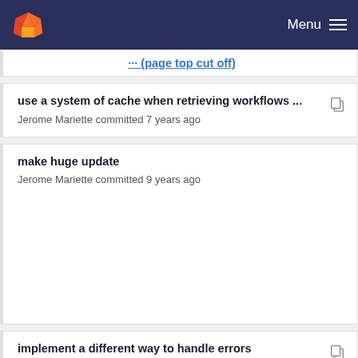GitLab Menu
use a system of cache when retrieving workflows ...
Jerome Mariette committed 7 years ago
make huge update
Jerome Mariette committed 9 years ago
implement a different way to handle errors
Jerome Mariette committed 7 years ago
No commit message